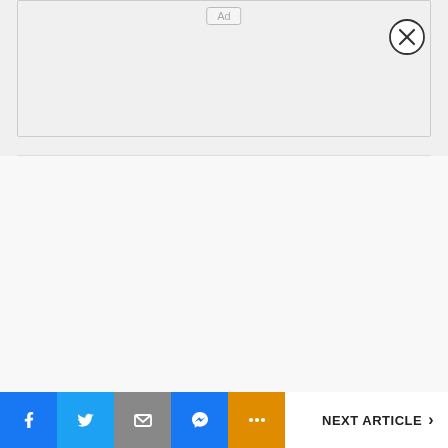[Figure (other): Ad placeholder box with 'Ad' label and close (X) button in top right corner]
[Figure (other): Social sharing bar with Facebook, Twitter, Email, Messenger, More buttons and NEXT ARTICLE link]